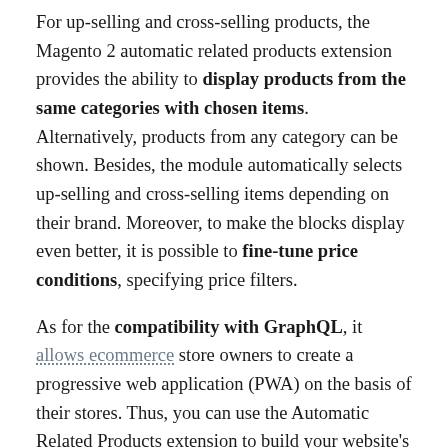For up-selling and cross-selling products, the Magento 2 automatic related products extension provides the ability to display products from the same categories with chosen items. Alternatively, products from any category can be shown. Besides, the module automatically selects up-selling and cross-selling items depending on their brand. Moreover, to make the blocks display even better, it is possible to fine-tune price conditions, specifying price filters.
As for the compatibility with GraphQL, it allows ecommerce store owners to create a progressive web application (PWA) on the basis of their stores. Thus, you can use the Automatic Related Products extension to build your website's storefront based on PWA or Javascript.
Amasty also offers a ready-made PWA solution that allows store managers to optimize a website storefront and provide users with